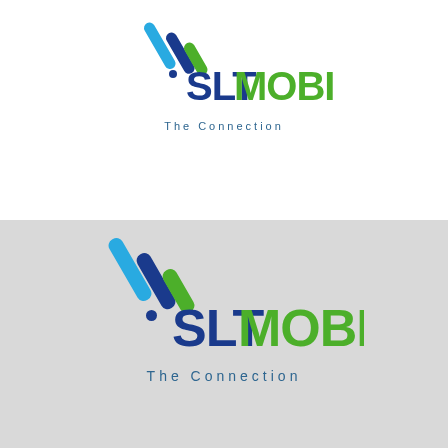[Figure (logo): SLT MOBITEL logo on white background. Graphic mark of diagonal slash lines in blue and green, followed by bold text 'SLT' in dark blue and 'MOBITEL' in green, with tagline 'The Connection' in teal below.]
[Figure (logo): SLT MOBITEL logo on grey background. Same logo as above with larger proportions: diagonal slash graphic mark in blue and green, 'SLT' in dark blue bold, 'MOBITEL' in green bold, tagline 'The Connection' in teal below.]